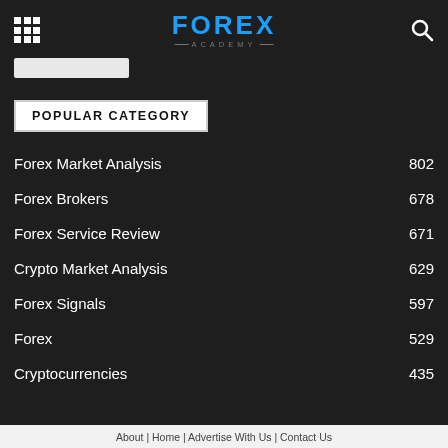FOREX ACADEMY
[Figure (screenshot): Search bar input field]
POPULAR CATEGORY
Forex Market Analysis 802
Forex Brokers 678
Forex Service Review 671
Crypto Market Analysis 629
Forex Signals 597
Forex 529
Cryptocurrencies 435
About | Home | Advertise With Us | Contact Us